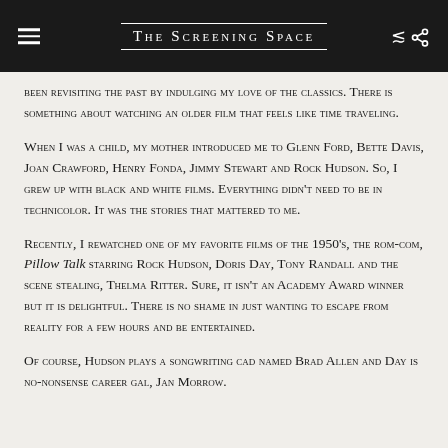The Screening Space
been revisiting the past by indulging my love of the classics. There is something about watching an older film that feels like time traveling.
When I was a child, my mother introduced me to Glenn Ford, Bette Davis, Joan Crawford, Henry Fonda, Jimmy Stewart and Rock Hudson. So, I grew up with black and white films. Everything didn't need to be in technicolor. It was the stories that mattered to me.
Recently, I rewatched one of my favorite films of the 1950's, the rom-com, Pillow Talk starring Rock Hudson, Doris Day, Tony Randall and the scene stealing, Thelma Ritter. Sure, it isn't an Academy Award winner but it is delightful. There is no shame in just wanting to escape from reality for a few hours and be entertained.
Of course, Hudson plays a songwriting cad named Brad Allen and Day is no-nonsense career gal, Jan Morrow.